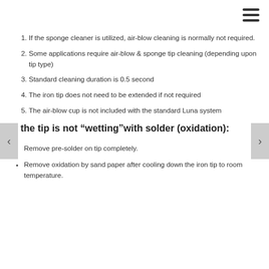If the sponge cleaner is utilized, air-blow cleaning is normally not required.
Some applications require air-blow & sponge tip cleaning (depending upon tip type)
Standard cleaning duration is 0.5 second
The iron tip does not need to be extended if not required
The air-blow cup is not included with the standard Luna system
If the tip is not “wetting”with solder (oxidation):
Remove pre-solder on tip completely.
Remove oxidation by sand paper after cooling down the iron tip to room temperature.